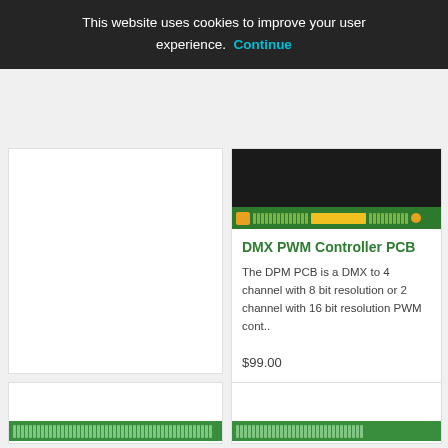This website uses cookies to improve your user experience. Continue
[Figure (photo): Green PCB board strip with connectors visible at top of product card]
DMX PWM Controller PCB
The DPM PCB is a DMX to 4 channel with 8 bit resolution or 2 channel with 16 bit resolution PWM cont..
$99.00
[Figure (photo): Green PCB board shown at bottom left product card]
[Figure (photo): Green PCB board shown at bottom right product card]